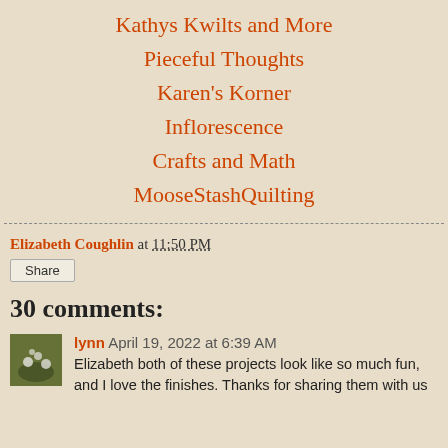Kathys Kwilts and More
Pieceful Thoughts
Karen's Korner
Inflorescence
Crafts and Math
MooseStashQuilting
Elizabeth Coughlin at 11:50 PM
Share
30 comments:
lynn April 19, 2022 at 6:39 AM
Elizabeth both of these projects look like so much fun, and I love the finishes. Thanks for sharing them with us